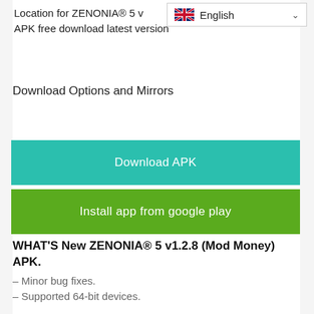Location for ZENONIA® 5 v
APK free download latest version
[Figure (other): Language selector dropdown showing UK flag and 'English' text with chevron]
Download Options and Mirrors
Download APK
Install app from google play
WHAT'S New ZENONIA® 5 v1.2.8 (Mod Money) APK.
– Minor bug fixes.
– Supported 64-bit devices.
ADDITIONAL INFORMATION about ZENONIA® 5 v1.2.8 (Mod Money) APK latest